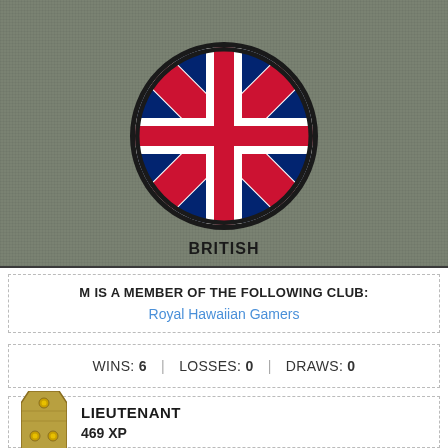[Figure (illustration): UK Union Jack flag displayed in a circular badge on a military olive-green textured background]
BRITISH
M IS A MEMBER OF THE FOLLOWING CLUB:
Royal Hawaiian Gamers
WINS: 6 | LOSSES: 0 | DRAWS: 0
[Figure (illustration): Military rank insignia showing a gold/khaki epaulette with two pips for Lieutenant rank]
LIEUTENANT
469 XP